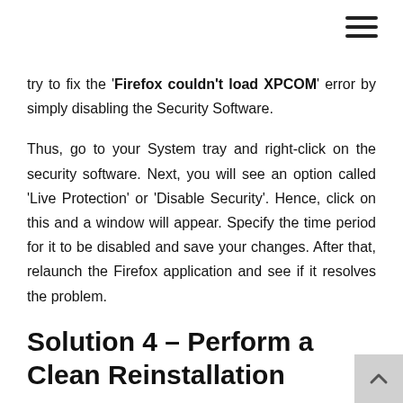try to fix the 'Firefox couldn't load XPCOM' error by simply disabling the Security Software.
Thus, go to your System tray and right-click on the security software. Next, you will see an option called 'Live Protection' or 'Disable Security'. Hence, click on this and a window will appear. Specify the time period for it to be disabled and save your changes. After that, relaunch the Firefox application and see if it resolves the problem.
Solution 4 – Perform a Clean Reinstallation
As a last resort, you need to uninstall and perform a clean reinstallation if you're still getting the error message. Therefore, follow the given instructions very carefully.